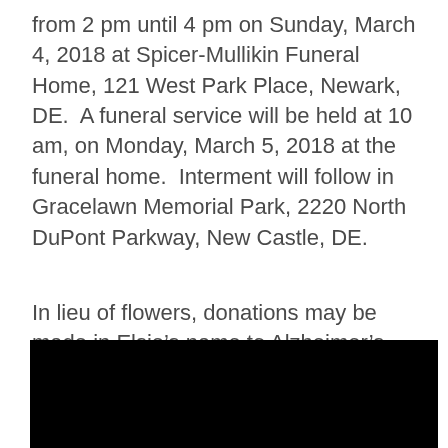from 2 pm until 4 pm on Sunday, March 4, 2018 at Spicer-Mullikin Funeral Home, 121 West Park Place, Newark, DE.  A funeral service will be held at 10 am, on Monday, March 5, 2018 at the funeral home.  Interment will follow in Gracelawn Memorial Park, 2220 North DuPont Parkway, New Castle, DE.
In lieu of flowers, donations may be made in Elsie’s name to Alzheimer’s Association, Delaware Valley, 399 Market Street, Suite 102, Philadelphia, PA, 19106.
[Figure (photo): Black rectangular image at the bottom of the page]